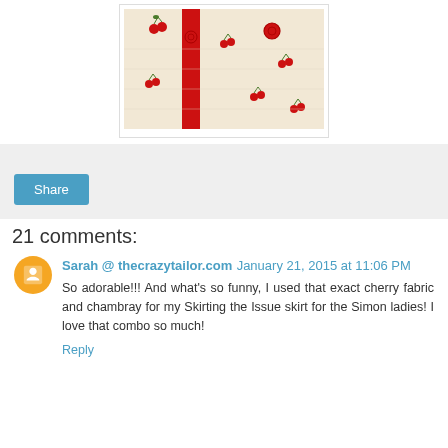[Figure (photo): Close-up photo of a cherry-print fabric dress or skirt with a red vertical stripe and red buttons, on a cream/off-white background with small cherry patterns.]
Share
21 comments:
Sarah @ thecrazytailor.com January 21, 2015 at 11:06 PM
So adorable!!! And what’s so funny, I used that exact cherry fabric and chambray for my Skirting the Issue skirt for the Simon ladies! I love that combo so much!
Reply